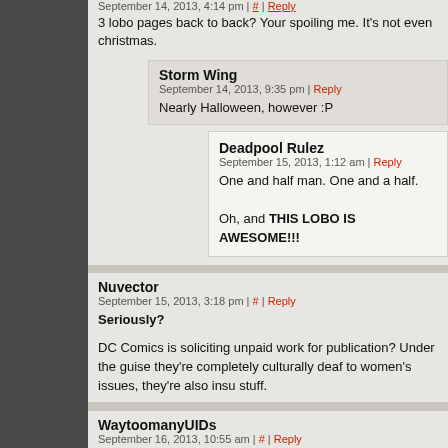September 14, 2013, 4:14 pm | # | Reply
3 lobo pages back to back? Your spoiling me. It's not even christmas.
Storm Wing
September 14, 2013, 9:35 pm | Reply
Nearly Halloween, however :P
Deadpool Rulez
September 15, 2013, 1:12 am | Reply
One and half man. One and a half.

Oh, and THIS LOBO IS AWESOME!!!
Nuvector
September 15, 2013, 3:18 pm | # | Reply
Seriously?
DC Comics is soliciting unpaid work for publication? Under the guise they're completely culturally deaf to women's issues, they're also insu stuff.
WaytoomanyUIDs
September 16, 2013, 10:55 am | # | Reply